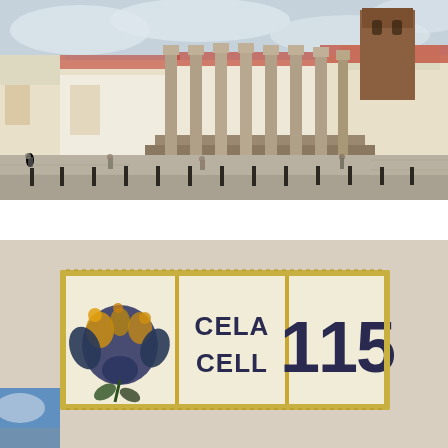[Figure (photo): Roman temple ruins with tall stone columns standing on a raised platform, surrounded by a cobblestone plaza with bollards, white buildings, and a stone church tower in the background under a cloudy sky.]
[Figure (photo): Three ceramic decorative tiles mounted on a beige wall. Left tile has a blue and yellow floral/fruit motif. Middle tile reads 'CELA CELL' in dark blue letters. Right tile shows the number '115' in dark blue.]
[Figure (photo): Partial view of a blue sky with clouds, cropped bottom-left corner of the page.]